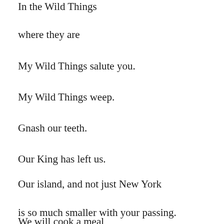In the Wild Things
where they are
My Wild Things salute you.
My Wild Things weep.
Gnash our teeth.
Our King has left us.
Our island, and not just New York
is so much smaller with your passing.
We will cook a meal